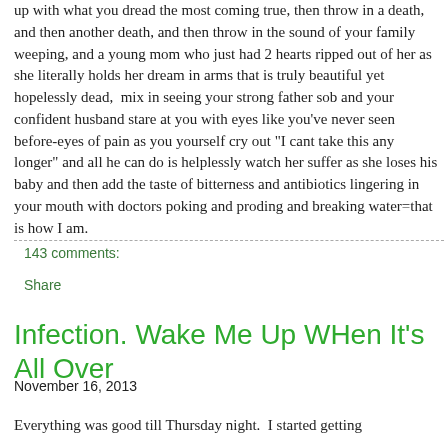up with what you dread the most coming true, then throw in a death, and then another death, and then throw in the sound of your family weeping, and a young mom who just had 2 hearts ripped out of her as she literally holds her dream in arms that is truly beautiful yet hopelessly dead,  mix in seeing your strong father sob and your confident husband stare at you with eyes like you've never seen before-eyes of pain as you yourself cry out "I cant take this any longer" and all he can do is helplessly watch her suffer as she loses his baby and then add the taste of bitterness and antibiotics lingering in your mouth with doctors poking and proding and breaking water=that is how I am.
143 comments:
Share
Infection. Wake Me Up WHen It's All Over
November 16, 2013
Everything was good till Thursday night.  I started getting